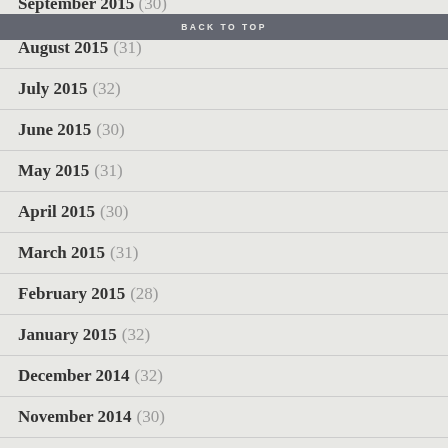September 2015 (30)
BACK TO TOP
August 2015 (31)
July 2015 (32)
June 2015 (30)
May 2015 (31)
April 2015 (30)
March 2015 (31)
February 2015 (28)
January 2015 (32)
December 2014 (32)
November 2014 (30)
October 2014 (31)
September 2014 (32)
August 2014 (32)